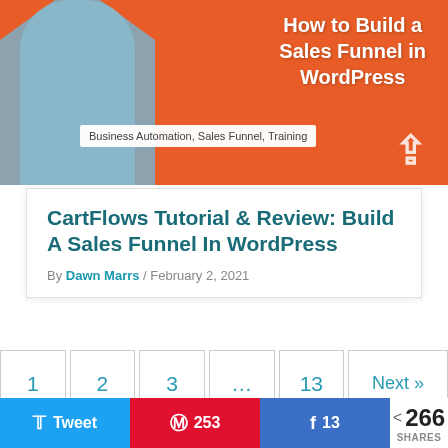[Figure (photo): Blog post thumbnail image showing a woman in a patterned top against an orange background with text 'How to Build a Sales Funnel in WordPress' overlaid]
Business Automation, Sales Funnel, Training
CartFlows Tutorial & Review: Build A Sales Funnel In WordPress
By Dawn Marrs / February 2, 2021
1
2
3
...
13
Next »
Tweet  |  A 253  |  Share 13  |  < 266 SHARES